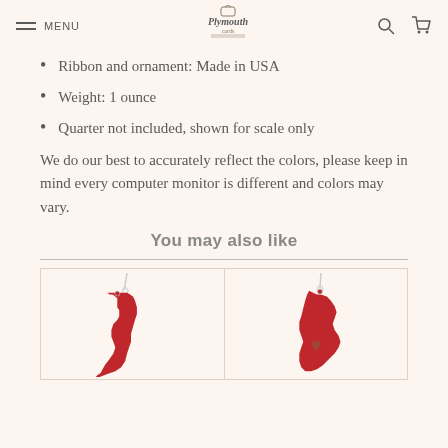MENU | Plymouth Cards
Ribbon and ornament: Made in USA
Weight: 1 ounce
Quarter not included, shown for scale only
We do our best to accurately reflect the colors, please keep in mind every computer monitor is different and colors may vary.
You may also like
[Figure (photo): Two red state-shaped Christmas ornaments hanging by silver strings: one shaped like Vermont/New Hampshire and one shaped like Maine with a small heart cutout, both on a cream background.]